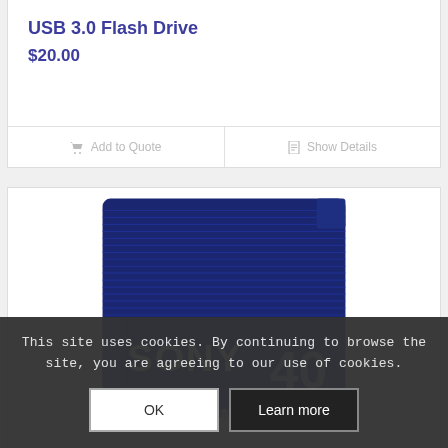USB 3.0 Flash Drive
$20.00
Add to Quote
Show Details
[Figure (photo): Sony 40 DVCAM memory card/cassette product image showing a blue Sony branded storage media with '40' printed on it]
This site uses cookies. By continuing to browse the site, you are agreeing to our use of cookies.
OK
Learn more